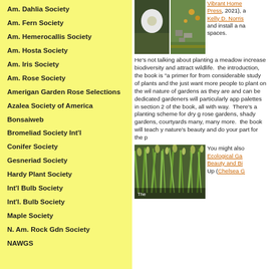Am. Dahlia Society
Am. Fern Society
Am. Hemerocallis Society
Am. Hosta Society
Am. Iris Society
Am. Rose Society
Amerigan Garden Rose Selections
Azalea Society of America
Bonsaiweb
Bromeliad Society Int'l
Conifer Society
Gesneriad Society
Hardy Plant Society
Int'l Bulb Society
Int'l. Bulb Society
Maple Society
N. Am. Rock Gdn Society
NAWGS
[Figure (photo): Book cover photo showing garden scene with flowers and stone path]
Vibrant Home Press, 2021), and Kelly D. Norris and install a na spaces.
He's not talking about planting a meadow increase biodiversity and attract wildlife. the introduction, the book is "a primer for from considerable study of plants and the just want more people to plant on the wil nature of gardens as they are and can be dedicated gardeners will particularly app palettes in section 2 of the book, all with way. There's a planting scheme for dry g rose gardens, shady gardens, courtyards many, many more. the book will teach y nature's beauty and do your part for the p
[Figure (photo): Book cover photo showing green grass or meadow plants, bottom portion visible]
You might also Ecological Ga Beauty and Bi Up (Chelsea G